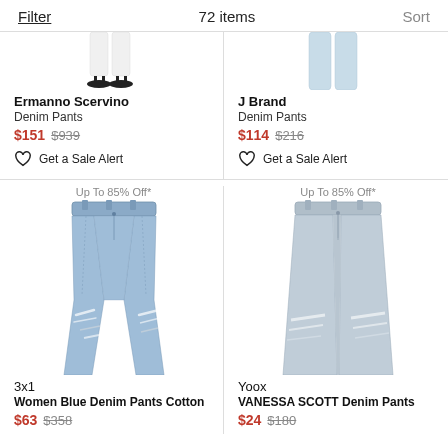Filter   72 items   Sort
[Figure (photo): Top portion of a model wearing white denim pants with black sandals — Ermanno Scervino product]
Ermanno Scervino
Denim Pants
$151 $939
Get a Sale Alert
[Figure (photo): Top portion of a model wearing light blue/white denim pants — J Brand product]
J Brand
Denim Pants
$114 $216
Get a Sale Alert
Up To 85% Off*
[Figure (photo): Flat-lay photo of light blue distressed ripped denim jeans — 3x1 product]
3x1
Women Blue Denim Pants Cotton
$63 $358
Up To 85% Off*
[Figure (photo): Flat-lay photo of light grey distressed wide-leg denim jeans — Yoox VANESSA SCOTT product]
Yoox
VANESSA SCOTT Denim Pants
$24 $180